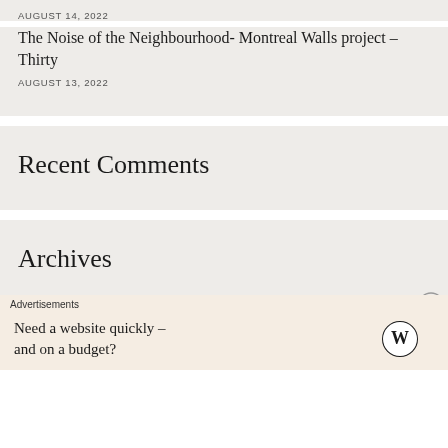AUGUST 14, 2022
The Noise of the Neighbourhood- Montreal Walls project – Thirty
AUGUST 13, 2022
Recent Comments
Archives
Advertisements
Need a website quickly – and on a budget?